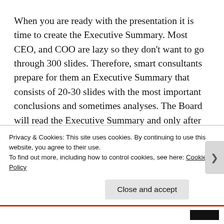When you are ready with the presentation it is time to create the Executive Summary. Most CEO, and COO are lazy so they don't want to go through 300 slides. Therefore, smart consultants prepare for them an Executive Summary that consists of 20-30 slides with the most important conclusions and sometimes analyses. The Board will read the Executive Summary and only after that decide which parts of the main presentation to go through. That's why in the Executive Summary you want to show them the main results and intrigue them enough so that they decide to read the main presentation. Remember that in a competitive…
Privacy & Cookies: This site uses cookies. By continuing to use this website, you agree to their use.
To find out more, including how to control cookies, see here: Cookie Policy
Close and accept